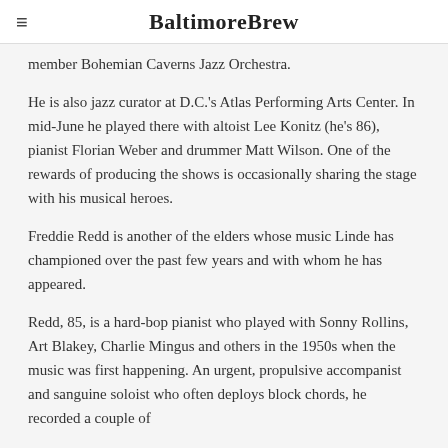BaltimoreBrew
member Bohemian Caverns Jazz Orchestra.
He is also jazz curator at D.C.'s Atlas Performing Arts Center. In mid-June he played there with altoist Lee Konitz (he's 86), pianist Florian Weber and drummer Matt Wilson. One of the rewards of producing the shows is occasionally sharing the stage with his musical heroes.
Freddie Redd is another of the elders whose music Linde has championed over the past few years and with whom he has appeared.
Redd, 85, is a hard-bop pianist who played with Sonny Rollins, Art Blakey, Charlie Mingus and others in the 1950s when the music was first happening. An urgent, propulsive accompanist and sanguine soloist who often deploys block chords, he recorded a couple of